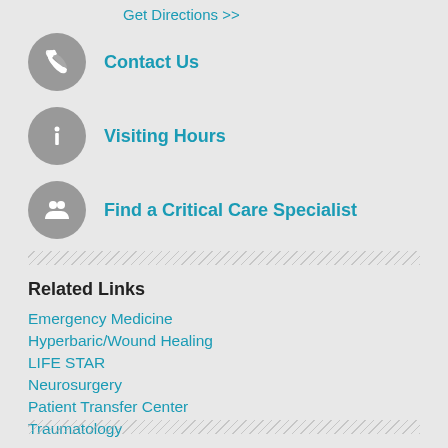Get Directions >>
Contact Us
Visiting Hours
Find a Critical Care Specialist
Related Links
Emergency Medicine
Hyperbaric/Wound Healing
LIFE STAR
Neurosurgery
Patient Transfer Center
Traumatology